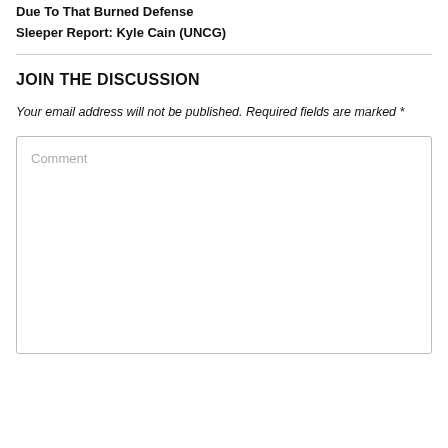Due To That Burned Defense
Sleeper Report: Kyle Cain (UNCG)
JOIN THE DISCUSSION
Your email address will not be published. Required fields are marked *
[Figure (other): Comment text area input box with placeholder text 'Comment']